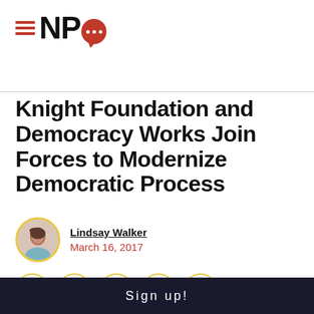[Figure (logo): NPQ logo with hamburger menu lines and red speech bubble with dots]
Knight Foundation and Democracy Works Join Forces to Modernize Democratic Process
Lindsay Walker
March 16, 2017
[Figure (infographic): Social share buttons: Facebook, Twitter, LinkedIn, Email, Print]
Sign up!